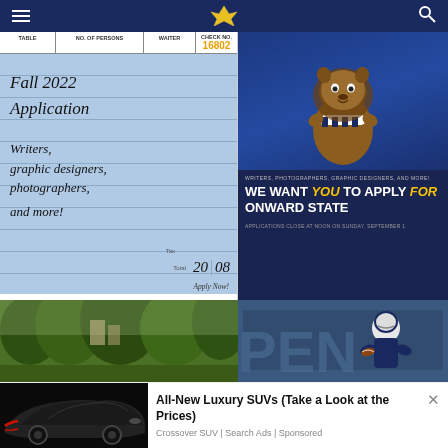Onward State navigation bar with hamburger menu, logo, and search icon
[Figure (illustration): Receipt-style advertisement for Onward State Fall 2022 Application. Shows a blue restaurant check form with handwritten text: 'Fall 2022 Application', 'Writers, graphic designers, photographers, and more!' Check number 16802, Total 20|08, Apply Now!]
[Figure (illustration): Onward State recruitment ad on dark blue background featuring mascot (lion/Nittany Lion) wearing striped scarf. Text reads: 'WRITERS, PHOTOGRAPHERS, GRAPHIC DESIGNERS, AND MORE! WE WANT you TO APPLY for ONWARD STATE. APPLICATIONS CLOSE AT NOON ON SUNDAY, SEPTEMBER 1']
[Figure (photo): Outdoor photo showing trees and building exterior, green foliage]
[Figure (photo): Football player in white helmet and navy uniform holding football, with large 'PEN' letters visible in background]
[Figure (photo): Advertisement showing a black luxury sports car/SUV side profile]
All-New Luxury SUVs (Take a Look at the Prices)
Crossover SUV | Search Ads | Sponsored
Social sharing bar: Facebook, Twitter, Email, SMS